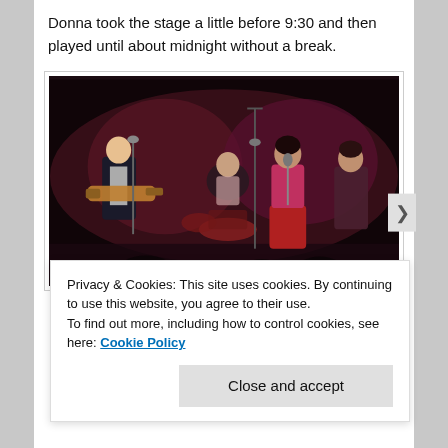Donna took the stage a little before 9:30 and then played until about midnight without a break.
[Figure (photo): Concert photo showing a band performing on stage. A guitarist/vocalist on the left, a female vocalist in the center-right singing into a microphone, a drummer in the background, and another musician on the right. The stage lighting is warm pink/red. Audience silhouettes visible at bottom.]
Privacy & Cookies: This site uses cookies. By continuing to use this website, you agree to their use.
To find out more, including how to control cookies, see here: Cookie Policy